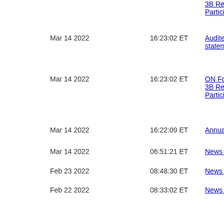3B Reporting Participation — (link truncated)
Mar 14 2022  16:23:02 ET  Audited and... statements
Mar 14 2022  16:23:02 ET  ON Form 1 3B Reporting Participation
Mar 14 2022  16:22:09 ET  Annual info
Mar 14 2022  06:51:21 ET  News relea
Feb 23 2022  08:48:30 ET  News relea
Feb 22 2022  08:33:02 ET  News relea
Feb 15 2022  08:41:21 ET  News relea
Feb 2 2022  08:31:03 ET  News relea
Feb 1 2022  08:31:57 ET  News relea
Jan 19 2022  08:31:51 ET  News relea
Jan 13 2022  08:32:55 ET  News relea